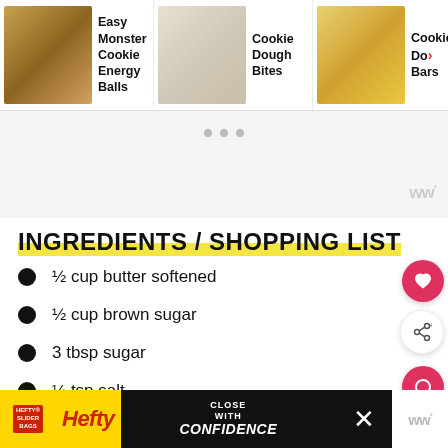[Figure (screenshot): Navigation carousel with three recipe thumbnails: Easy Monster Cookie Energy Balls, Cookie Dough Bites, Cookie Dough Bars]
[Figure (screenshot): Advertisement/carousel area with three pagination dots and a woo logo in bottom right]
INGREDIENTS / SHOPPING LIST
½ cup butter softened
½ cup brown sugar
3 tbsp sugar
¼ tsp salt
1 tbsp milk
[Figure (screenshot): Hefty Slider Bags advertisement banner at the bottom]